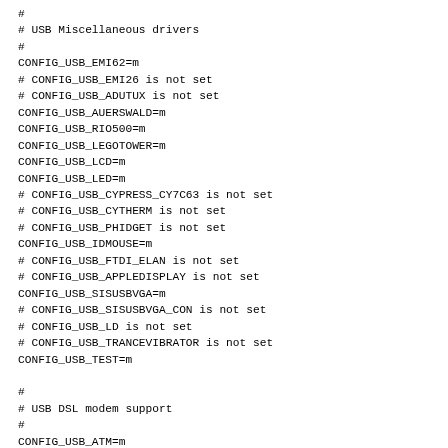#
# USB Miscellaneous drivers
#
CONFIG_USB_EMI62=m
# CONFIG_USB_EMI26 is not set
# CONFIG_USB_ADUTUX is not set
CONFIG_USB_AUERSWALD=m
CONFIG_USB_RIO500=m
CONFIG_USB_LEGOTOWER=m
CONFIG_USB_LCD=m
CONFIG_USB_LED=m
# CONFIG_USB_CYPRESS_CY7C63 is not set
# CONFIG_USB_CYTHERM is not set
# CONFIG_USB_PHIDGET is not set
CONFIG_USB_IDMOUSE=m
# CONFIG_USB_FTDI_ELAN is not set
# CONFIG_USB_APPLEDISPLAY is not set
CONFIG_USB_SISUSBVGA=m
# CONFIG_USB_SISUSBVGA_CON is not set
# CONFIG_USB_LD is not set
# CONFIG_USB_TRANCEVIBRATOR is not set
CONFIG_USB_TEST=m

#
# USB DSL modem support
#
CONFIG_USB_ATM=m
CONFIG_USB_SPEEDTOUCH=m
# CONFIG_USB_CXACRU is not set
# CONFIG_USB_UEAGLEATM is not set
# CONFIG_USB_XUSBATM is not set